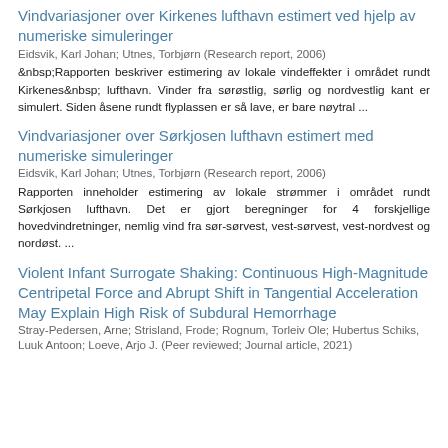Vindvariasjoner over Kirkenes lufthavn estimert ved hjelp av numeriske simuleringer
Eidsvik, Karl Johan; Utnes, Torbjørn (Research report, 2006)
&nbsp;Rapporten beskriver estimering av lokale vindeffekter i området rundt Kirkenes&nbsp; lufthavn. Vinder fra sørøstlig, sørlig og nordvestlig kant er simulert. Siden åsene rundt flyplassen er så lave, er bare nøytral ...
Vindvariasjoner over Sørkjosen lufthavn estimert med numeriske simuleringer
Eidsvik, Karl Johan; Utnes, Torbjørn (Research report, 2006)
Rapporten inneholder estimering av lokale strømmer i området rundt Sørkjosen lufthavn. Det er gjort beregninger for 4 forskjellige hovedvindretninger, nemlig vind fra sør-sørvest, vest-sørvest, vest-nordvest og nordøst. ...
Violent Infant Surrogate Shaking: Continuous High-Magnitude Centripetal Force and Abrupt Shift in Tangential Acceleration May Explain High Risk of Subdural Hemorrhage
Stray-Pedersen, Arne; Strisland, Frode; Rognum, Torleiv Ole; Hubertus Schiks, Luuk Antoon; Loeve, Arjo J. (Peer reviewed; Journal article, 2021)